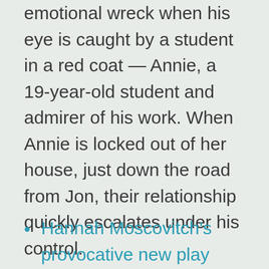emotional wreck when his eye is caught by a student in a red coat — Annie, a 19-year-old student and admirer of his work. When Annie is locked out of her house, just down the road from Jon, their relationship quickly escalates under his control.
Hannah Moscovitch's provocative new play encourages a nuanced open